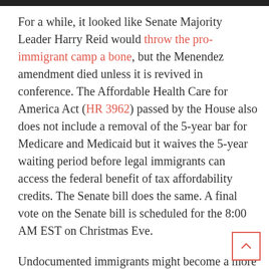For a while, it looked like Senate Majority Leader Harry Reid would throw the pro-immigrant camp a bone, but the Menendez amendment died unless it is revived in conference. The Affordable Health Care for America Act (HR 3962) passed by the House also does not include a removal of the 5-year bar for Medicare and Medicaid but it waives the 5-year waiting period before legal immigrants can access the federal benefit of tax affordability credits. The Senate bill does the same. A final vote on the Senate bill is scheduled for the 8:00 AM EST on Christmas Eve.
Undocumented immigrants might become a more contentious issue going into conference. Currently, the House bill allows